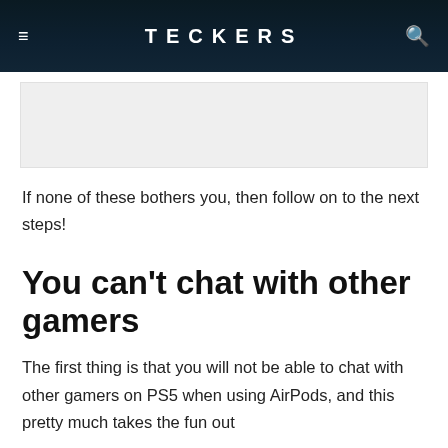TECKERS
[Figure (other): Advertisement or image placeholder block]
If none of these bothers you, then follow on to the next steps!
You can't chat with other gamers
The first thing is that you will not be able to chat with other gamers on PS5 when using AirPods, and this pretty much takes the fun out